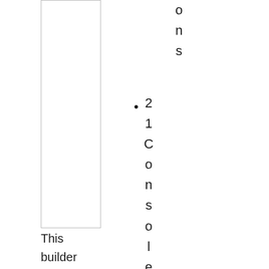ons 21Consoles
This builder has been